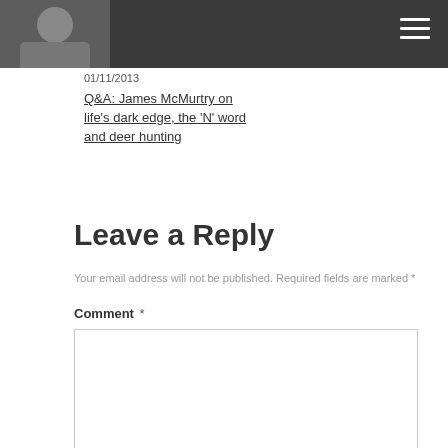[Figure (photo): Partial photo of a person visible in top-left, within a dark grey header bar]
01/11/2013
Q&A: James McMurtry on life's dark edge, the 'N' word and deer hunting
Leave a Reply
Your email address will not be published. Required fields are marked *
Comment *